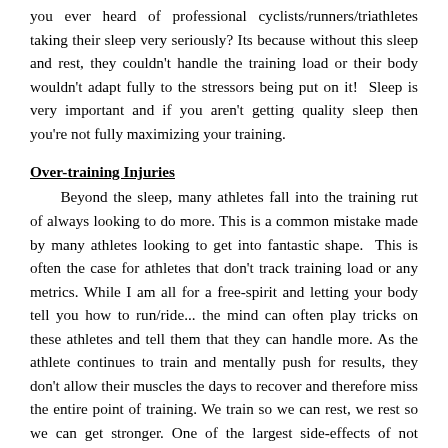you ever heard of professional cyclists/runners/triathletes taking their sleep very seriously? Its because without this sleep and rest, they couldn't handle the training load or their body wouldn't adapt fully to the stressors being put on it!  Sleep is very important and if you aren't getting quality sleep then you're not fully maximizing your training.
Over-training Injuries
Beyond the sleep, many athletes fall into the training rut of always looking to do more. This is a common mistake made by many athletes looking to get into fantastic shape.  This is often the case for athletes that don't track training load or any metrics. While I am all for a free-spirit and letting your body tell you how to run/ride... the mind can often play tricks on these athletes and tell them that they can handle more. As the athlete continues to train and mentally push for results, they don't allow their muscles the days to recover and therefore miss the entire point of training. We train so we can rest, we rest so we can get stronger. One of the largest side-effects of not resting is injuries and this is often where you find the running injuries with athletes. They didn't track their training load, their mind told them to keep